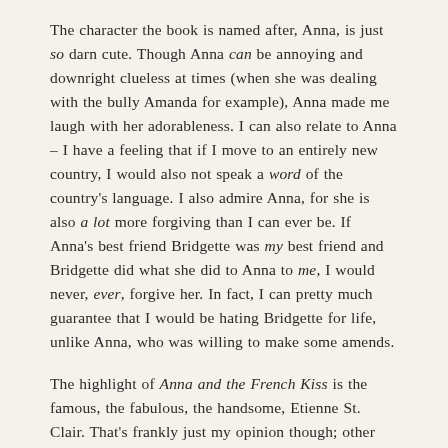The character the book is named after, Anna, is just so darn cute. Though Anna can be annoying and downright clueless at times (when she was dealing with the bully Amanda for example), Anna made me laugh with her adorableness. I can also relate to Anna – I have a feeling that if I move to an entirely new country, I would also not speak a word of the country's language. I also admire Anna, for she is also a lot more forgiving than I can ever be. If Anna's best friend Bridgette was my best friend and Bridgette did what she did to Anna to me, I would never, ever, forgive her. In fact, I can pretty much guarantee that I would be hating Bridgette for life, unlike Anna, who was willing to make some amends.
The highlight of Anna and the French Kiss is the famous, the fabulous, the handsome, Etienne St. Clair. That's frankly just my opinion though; other people were greatly annoyed by him. Sure, Etienne St. Clair has one glaringly obvious flaw, stringing Anna along with him throughout the entire book and not dumping his girlfriend for her. However, I still love St. Clair despite [continues]